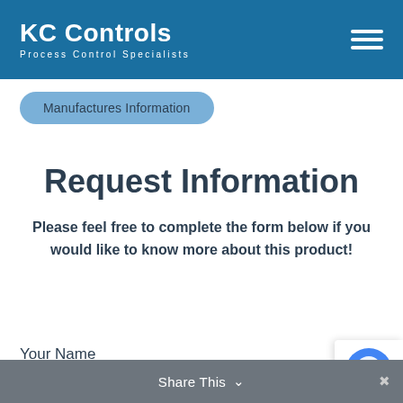KC Controls — Process Control Specialists
Manufactures Information
Request Information
Please feel free to complete the form below if you would like to know more about this product!
Your Name
Share This